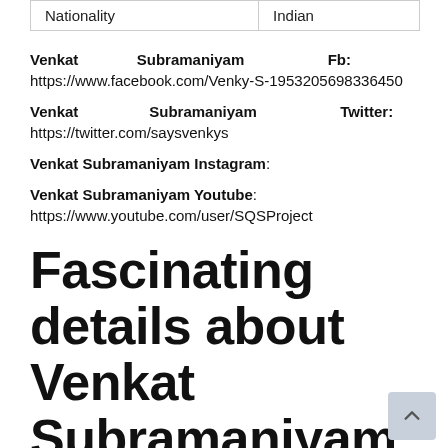| Nationality | Indian |
| --- | --- |
Venkat Subramaniyam Fb: https://www.facebook.com/Venky-S-1953205698336450
Venkat Subramaniyam Twitter: https://twitter.com/saysvenkys
Venkat Subramaniyam Instagram:
Venkat Subramaniyam Youtube: https://www.youtube.com/user/SQSProject
Fascinating details about Venkat Subramaniyam